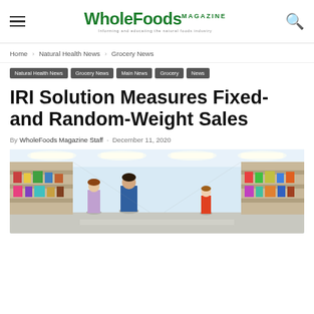WholeFoods MAGAZINE
Home › Natural Health News › Grocery News
Natural Health News
Grocery News
Main News
Grocery
News
IRI Solution Measures Fixed- and Random-Weight Sales
By WholeFoods Magazine Staff - December 11, 2020
[Figure (photo): Interior of a grocery store with shoppers walking down an aisle with bright lighting and colorful product displays]